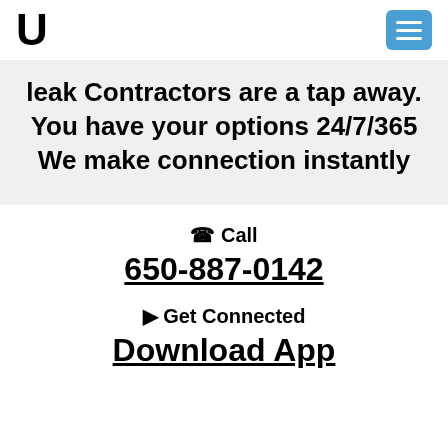U [logo] | [hamburger menu button]
leak Contractors are a tap away. You have your options 24/7/365 We make connection instantly
☎ Call
650-887-0142
▶ Get Connected
Download App